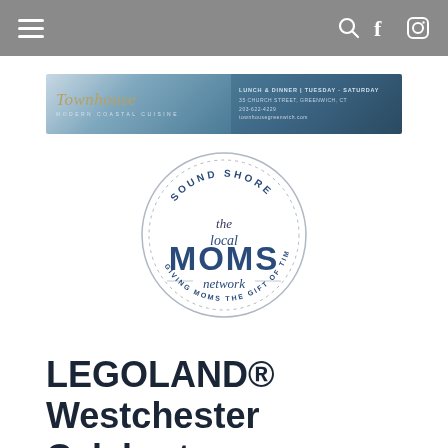Navigation bar with hamburger menu, search, Facebook and Instagram icons
[Figure (logo): Townhouse Modern Coastal Cuisine advertisement banner. Left side: cursive gold 'Townhouse' logo on blue-grey gradient with 'MODERN COASTAL CUISINE' subtitle. Right side: 'LUNCH & DINNER | Tuesday - Saturday', '35 CHURCH STREET, GREENWICH, CT', '203-622-4229', 'townhousegreenwich.com']
[Figure (logo): Sound Shore The Local MOMS Network circular logo. Circular border with dotted line. Text: 'SOUND SHORE' at top, 'the local' in script, 'MOMS' in large blue text, 'network' in script, 'GIVING MOMS THE GIFT OF TIME' around bottom arc.]
LEGOLAND® Westchester Celebrates New LEGO® NINJAGO®